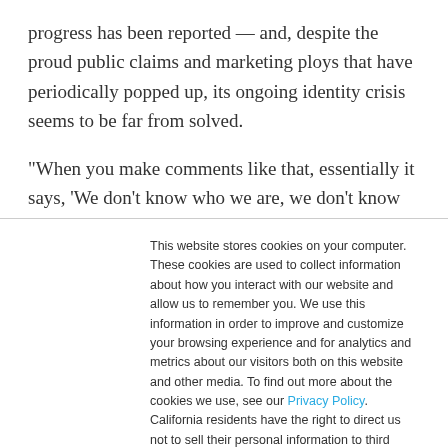progress has been reported — and, despite the proud public claims and marketing ploys that have periodically popped up, its ongoing identity crisis seems to be far from solved.
“When you make comments like that, essentially it says, ‘We don’t know who we are, we don’t know where we’re going, and so partnering up with somebody big would be easier than
This website stores cookies on your computer. These cookies are used to collect information about how you interact with our website and allow us to remember you. We use this information in order to improve and customize your browsing experience and for analytics and metrics about our visitors both on this website and other media. To find out more about the cookies we use, see our Privacy Policy. California residents have the right to direct us not to sell their personal information to third parties by filing an Opt-Out Request: Do Not Sell My Personal Info.
Accept